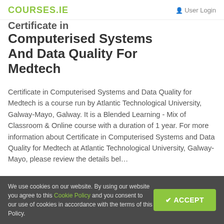COURSES.IE  User Login
Certificate in Computerised Systems And Data Quality For Medtech
Certificate in Computerised Systems and Data Quality for Medtech is a course run by Atlantic Technological University, Galway-Mayo, Galway. It is a Blended Learning - Mix of Classroom & Online course with a duration of 1 year. For more information about Certificate in Computerised Systems and Data Quality for Medtech at Atlantic Technological University, Galway-Mayo, please review the details below.
We use cookies on our website. By using our website you agree to this Cookie Policy and you consent to our use of cookies in accordance with the terms of this Policy.